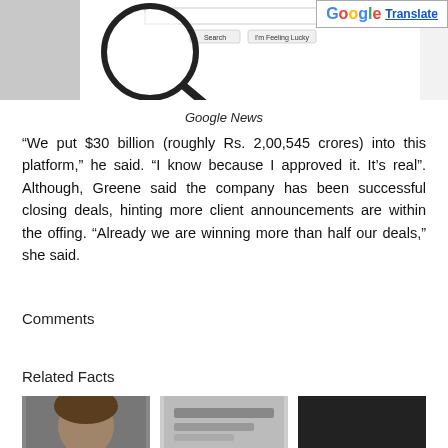[Figure (screenshot): Google search page screenshot with a magnifying glass overlaid on it, and a Google Translate badge in the top-right corner]
Google News
“We put $30 billion (roughly Rs. 2,00,545 crores) into this platform,” he said. “I know because I approved it. It’s real”. Although, Greene said the company has been successful closing deals, hinting more client announcements are within the offing. “Already we are winning more than half our deals,” she said.
Comments
Related Facts
[Figure (photo): Three thumbnail images for related facts]